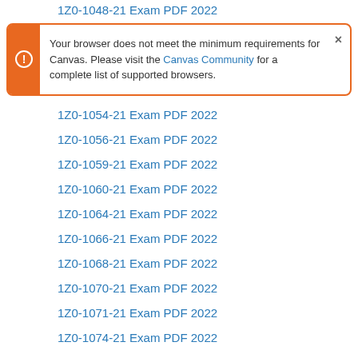1Z0-1048-21 Exam PDF 2022
Your browser does not meet the minimum requirements for Canvas. Please visit the Canvas Community for a complete list of supported browsers.
1Z0-1054-21 Exam PDF 2022
1Z0-1056-21 Exam PDF 2022
1Z0-1059-21 Exam PDF 2022
1Z0-1060-21 Exam PDF 2022
1Z0-1064-21 Exam PDF 2022
1Z0-1066-21 Exam PDF 2022
1Z0-1068-21 Exam PDF 2022
1Z0-1070-21 Exam PDF 2022
1Z0-1071-21 Exam PDF 2022
1Z0-1074-21 Exam PDF 2022
1Z0-1075-21 Exam PDF 2022
1Z0-1077-21 Exam PDF 2022
1Z0-1080-21 Exam PDF 2022
1Z0-1083-21 Exam PDF 2022